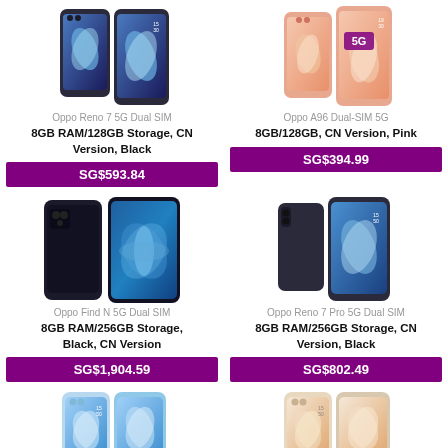[Figure (photo): Oppo Reno 7 5G Dual SIM smartphone in black]
Oppo Reno 7 5G Dual SIM
8GB RAM/128GB Storage, CN Version, Black
SG$593.84
[Figure (photo): Oppo A96 Dual-SIM 5G smartphone in pink with 5G branding]
Oppo A96 Dual-SIM 5G
8GB/128GB, CN Version, Pink
SG$394.99
[Figure (photo): Oppo Find N 5G Dual SIM foldable smartphone in black]
Oppo Find N 5G Dual SIM
8GB RAM/256GB Storage, Black, CN Version
SG$1,904.59
[Figure (photo): Oppo Reno 7 Pro 5G Dual SIM smartphone in black]
Oppo Reno 7 Pro 5G Dual SIM
8GB RAM/256GB Storage, CN Version, Black
SG$802.49
[Figure (photo): Oppo Reno smartphone in blue/light color]
[Figure (photo): Oppo Reno smartphone in white/cream color]